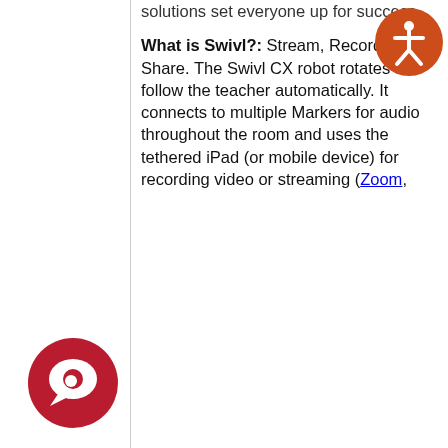solutions set everyone up for success.
What is Swivl?:
Stream, Record, and Share. The Swivl CX robot rotates to follow the teacher automatically. It connects to multiple Markers for audio throughout the room and uses the tethered iPad (or mobile device) for recording video or streaming (Zoom,
[Figure (illustration): Orange circular accessibility icon with a person figure in white]
[Figure (illustration): Dark red circular chat/message icon with a speech bubble]